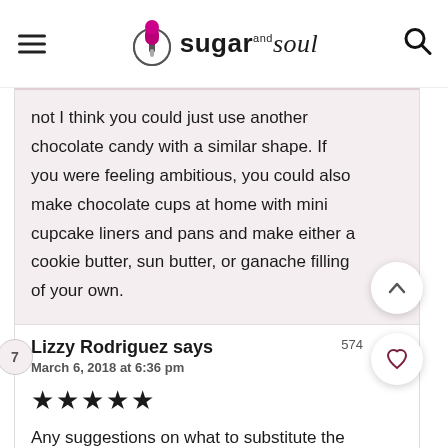sugar and soul
not I think you could just use another chocolate candy with a similar shape. If you were feeling ambitious, you could also make chocolate cups at home with mini cupcake liners and pans and make either a cookie butter, sun butter, or ganache filling of your own.
Lizzy Rodriguez says
March 6, 2018 at 6:36 pm
★★★★★
Any suggestions on what to substitute the peanut butter with? I'm planning to make them for my daughter's baseball team but a few are allergic to peanuts.